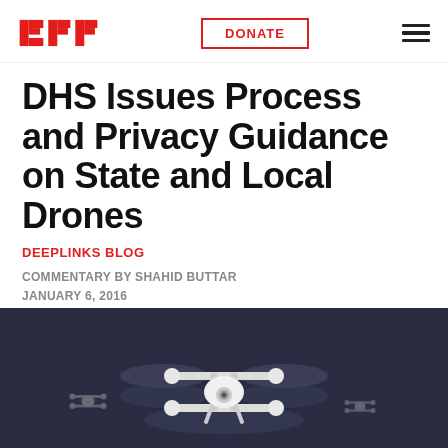EFF | DONATE
DHS Issues Process and Privacy Guidance on State and Local Drones
DEEPLINKS BLOG
COMMENTARY BY SHAHID BUTTAR
JANUARY 6, 2016
[Figure (illustration): Twitter and Facebook social share buttons]
[Figure (illustration): Illustration of a white quadcopter drone against a dark navy background with two faint smaller drones in the background]